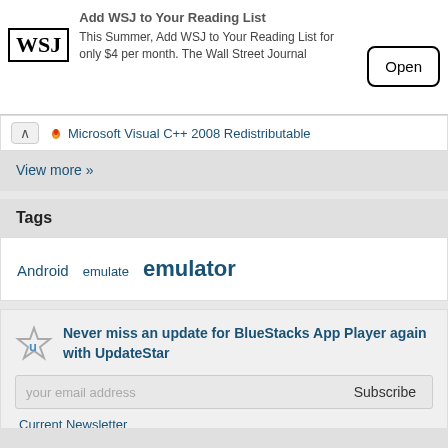[Figure (screenshot): WSJ ad banner with logo, text 'Add WSJ to Your Reading List - This Summer, Add WSJ to Your Reading List for only $4 per month. The Wall Street Journal' and an Open button]
Microsoft Visual C++ 2008 Redistributable
View more »
Tags
Android  emulate  emulator
Never miss an update for BlueStacks App Player again with UpdateStar
your email address  Subscribe
Current Newsletter